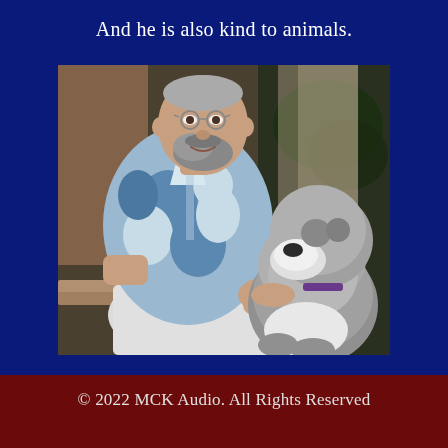And he is also kind to animals.
[Figure (photo): A middle-aged man with gray beard wearing a blue and white floral Hawaiian shirt, sitting on a bench and petting a fluffy gray dog. The man is smiling and looking down at the dog.]
© 2022 MCK Audio. All Rights Reserved